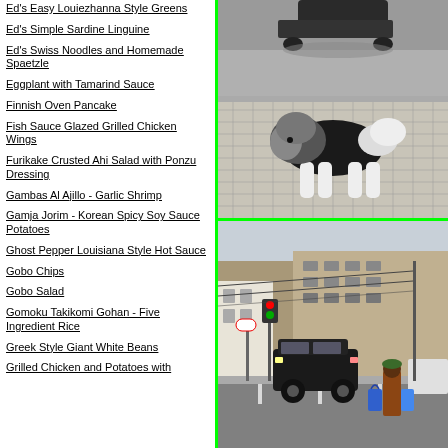Ed's Easy Louiezhanna Style Greens
Ed's Simple Sardine Linguine
Ed's Swiss Noodles and Homemade Spaetzle
Eggplant with Tamarind Sauce
Finnish Oven Pancake
Fish Sauce Glazed Grilled Chicken Wings
Furikake Crusted Ahi Salad with Ponzu Dressing
Gambas Al Ajillo - Garlic Shrimp
Gamja Jorim - Korean Spicy Soy Sauce Potatoes
Ghost Pepper Louisiana Style Hot Sauce
Gobo Chips
Gobo Salad
Gomoku Takikomi Gohan - Five Ingredient Rice
Greek Style Giant White Beans
Grilled Chicken and Potatoes with
[Figure (photo): A shaggy dog wearing a dark vest/jacket standing on cobblestone pavement, with a car visible in the background on a street]
[Figure (photo): A street scene in Japan with a dark minivan, traffic signal, buildings, and a person walking carrying blue bags]